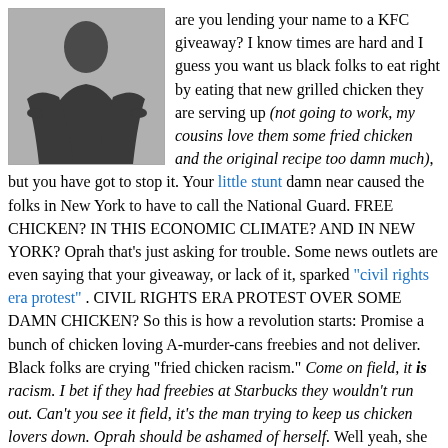[Figure (photo): Photo of a person in a dark outfit standing with hands on hips]
are you lending your name to a KFC giveaway? I know times are hard and I guess you want us black folks to eat right by eating that new grilled chicken they are serving up (not going to work, my cousins love them some fried chicken and the original recipe too damn much), but you have got to stop it. Your little stunt damn near caused the folks in New York to have to call the National Guard. FREE CHICKEN? IN THIS ECONOMIC CLIMATE? AND IN NEW YORK? Oprah that's just asking for trouble. Some news outlets are even saying that your giveaway, or lack of it, sparked "civil rights era protest" . CIVIL RIGHTS ERA PROTEST OVER SOME DAMN CHICKEN? So this is how a revolution starts: Promise a bunch of chicken loving A-murder-cans freebies and not deliver.
Black folks are crying "fried chicken racism." Come on field, it is racism. I bet if they had freebies at Starbucks they wouldn't run out. Can't you see it field, it's the man trying to keep us chicken lovers down. Oprah should be ashamed of herself. Well yeah, she should be ashamed of herself. But it should be for agreeing to do this promotion with KFC in the first place, and I know shame on them too.